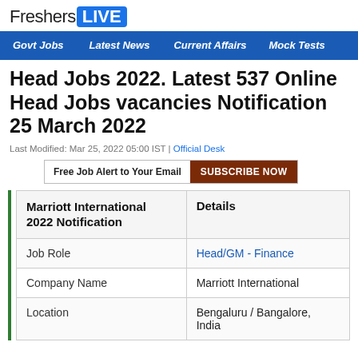FreshersLIVE
Govt Jobs | Latest News | Current Affairs | Mock Tests
Head Jobs 2022. Latest 537 Online Head Jobs vacancies Notification 25 March 2022
Last Modified: Mar 25, 2022 05:00 IST | Official Desk
Free Job Alert to Your Email  SUBSCRIBE NOW
| Marriott International 2022 Notification | Details |
| --- | --- |
| Job Role | Head/GM - Finance |
| Company Name | Marriott International |
| Location | Bengaluru / Bangalore, India |